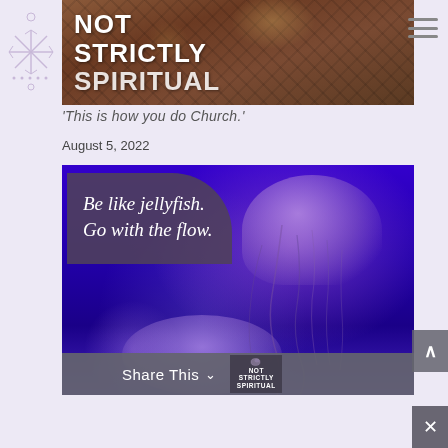[Figure (photo): Website screenshot showing 'Not Strictly Spiritual' blog header with cathedral ceiling background image in brown/red tones]
NOT STRICTLY SPIRITUAL
'This is how you do Church.'
August 5, 2022
[Figure (photo): Jellyfish photo with blue/purple electric background. Overlaid dark rounded rectangle with cursive white text reading 'Be like jellyfish. Go with the flow.']
Share This
[Figure (logo): Not Strictly Spiritual logo in share bar, small version with bird/ornament graphic]